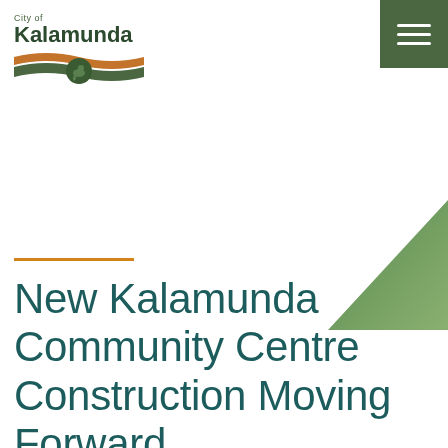[Figure (logo): City of Kalamunda logo with wave/ribbon graphic and kangaroo emblem]
[Figure (illustration): Green hamburger menu button in top-right corner]
[Figure (illustration): Decorative green triangle shape on right side of page]
New Kalamunda Community Centre Construction Moving Forward